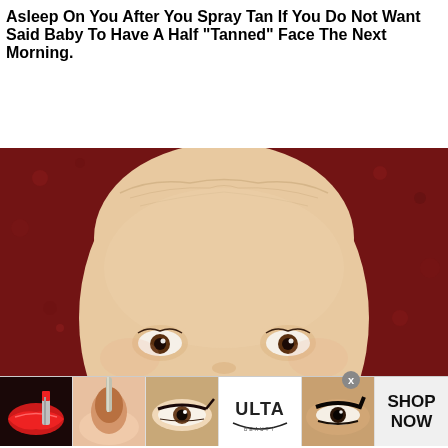Asleep On You After You Spray Tan If You Do Not Want Said Baby To Have A Half "Tanned" Face The Next Morning.
[Figure (photo): Close-up photo of a baby's face looking up at the camera against a dark red background, showing forehead and eyes prominently]
[Figure (photo): Advertisement banner for Ulta Beauty showing makeup-related images: red lips with lipstick, makeup brush, eye with dramatic liner, Ulta Beauty logo, eye with winged liner, and SHOP NOW text]